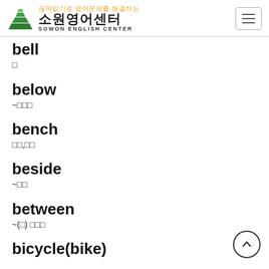끊어읽기로 영어문제를 해결하는 소원영어센터 SOWON ENGLISH CENTER
bell
□
below
~□□□
bench
□□,□□
beside
~□□
between
~(□) □□□
bicycle(bike)